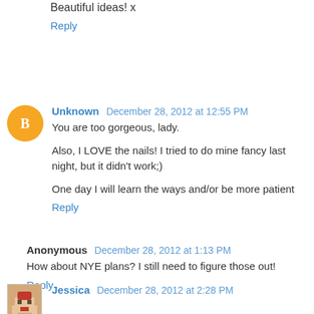Beautiful ideas! x
Reply
Unknown  December 28, 2012 at 12:55 PM
You are too gorgeous, lady.
Also, I LOVE the nails! I tried to do mine fancy last night, but it didn't work;)
One day I will learn the ways and/or be more patient
Reply
Anonymous  December 28, 2012 at 1:13 PM
How about NYE plans? I still need to figure those out!
Reply
Jessica  December 28, 2012 at 2:28 PM